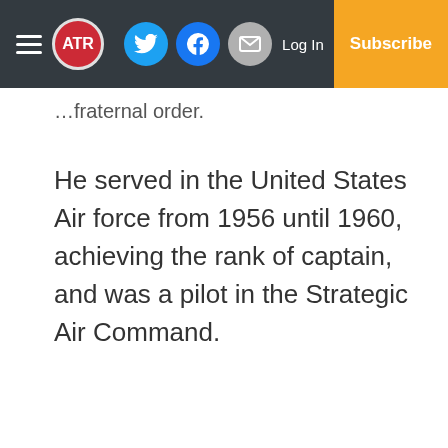ATR | Log In | Subscribe
…fraternal order.
He served in the United States Air force from 1956 until 1960, achieving the rank of captain, and was a pilot in the Strategic Air Command.